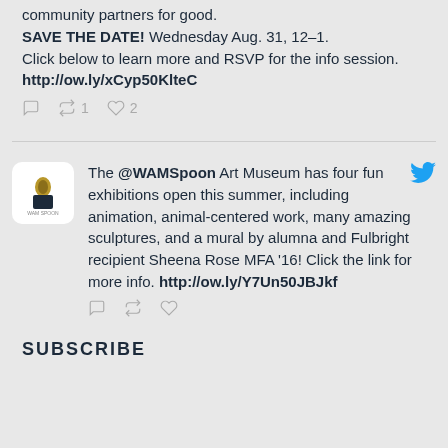community partners for good. SAVE THE DATE! Wednesday Aug. 31, 12–1. Click below to learn more and RSVP for the info session. http://ow.ly/xCyp50KlteC
The @WAMSpoon Art Museum has four fun exhibitions open this summer, including animation, animal-centered work, many amazing sculptures, and a mural by alumna and Fulbright recipient Sheena Rose MFA '16! Click the link for more info. http://ow.ly/Y7Un50JBJkf
SUBSCRIBE